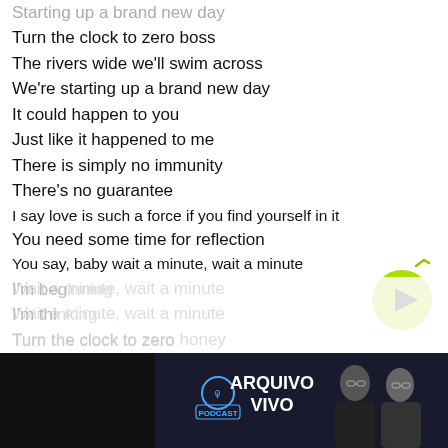Starting up a brand new day
Turn the clock to zero boss
The rivers wide we'll swim across
We're starting up a brand new day
It could happen to you
Just like it happened to me
There is simply no immunity
There's no guarantee
I say love is such a force if you find yourself in it
You need some time for reflection
You say, baby wait a minute, wait a minute
Wait a minute, wait a minute
Wait a minute, wait a minute
Turn the clock to zero honey
I'll sell the stock we'll spend all the money
We're starting up a brand new day
Turn the clock to zero Mac
I'm beg...
I'm thi...
Turn the clock to zero...
[Figure (screenshot): Arquivo Vivo podcast ad banner with two men in suits and podcast logo]